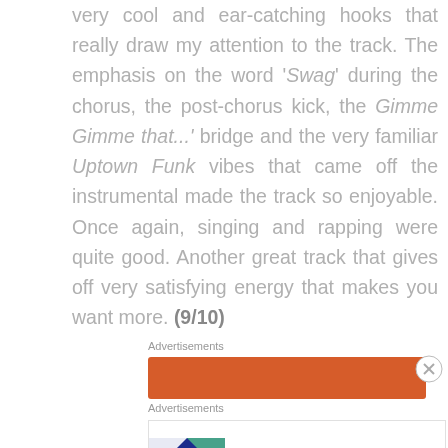very cool and ear-catching hooks that really draw my attention to the track. The emphasis on the word 'Swag' during the chorus, the post-chorus kick, the Gimme Gimme that...' bridge and the very familiar Uptown Funk vibes that came off the instrumental made the track so enjoyable. Once again, singing and rapping were quite good. Another great track that gives off very satisfying energy that makes you want more. (9/10)
Advertisements
[Figure (other): Orange advertisement banner]
Advertisements
[Figure (other): Pocket Casts advertisement: The go-to app for podcast lovers.]